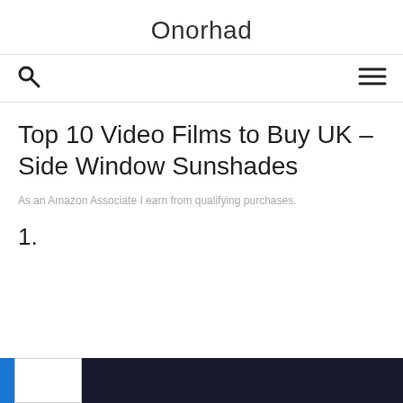Onorhad
Top 10 Video Films to Buy UK – Side Window Sunshades
As an Amazon Associate I earn from qualifying purchases.
1.
As an Amazon Associate I earn from qualifying purchases. This website uses the only necessary cookies to ensure you get the best experience on our website. More information